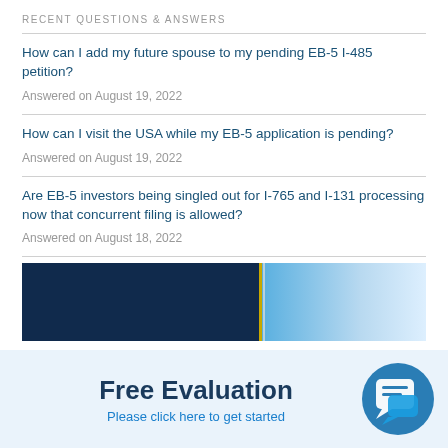RECENT QUESTIONS & ANSWERS
How can I add my future spouse to my pending EB-5 I-485 petition?
Answered on August 19, 2022
How can I visit the USA while my EB-5 application is pending?
Answered on August 19, 2022
Are EB-5 investors being singled out for I-765 and I-131 processing now that concurrent filing is allowed?
Answered on August 18, 2022
[Figure (photo): Banner image with dark navy blue on left and light blue gradient on right, with a thin gold/silver stripe dividing the two sections]
Free Evaluation
Please click here to get started